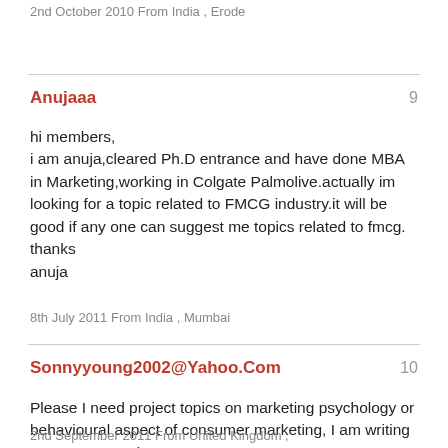2nd October 2010 From India , Erode
Anujaaa
9
hi members,
i am anuja,cleared Ph.D entrance and have done MBA in Marketing,working in Colgate Palmolive.actually im looking for a topic related to FMCG industry.it will be good if any one can suggest me topics related to fmcg.
thanks
anuja
8th July 2011 From India , Mumbai
Sonnyyoung2002@Yahoo.Com
10
Please I need project topics on marketing psychology or behavioural aspect of consumer marketing, I am writing my masters project.
2nd September 2011 From United Kingdom ,